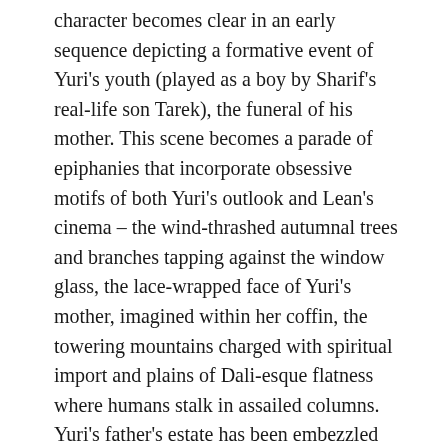character becomes clear in an early sequence depicting a formative event of Yuri's youth (played as a boy by Sharif's real-life son Tarek), the funeral of his mother. This scene becomes a parade of epiphanies that incorporate obsessive motifs of both Yuri's outlook and Lean's cinema – the wind-thrashed autumnal trees and branches tapping against the window glass, the lace-wrapped face of Yuri's mother, imagined within her coffin, the towering mountains charged with spiritual import and plains of Dali-esque flatness where humans stalk in assailed columns. Yuri's father's estate has been embezzled and he has a half-brother he's never met. His one real inheritance is his mother's balalaika,